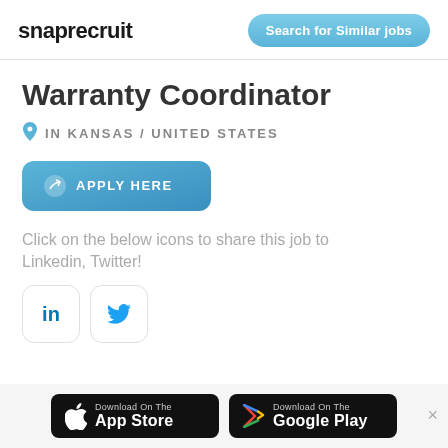snaprecruit | Search for Similar jobs
Warranty Coordinator
IN KANSAS / UNITED STATES
APPLY HERE
Click on the below icons to share this job to Linkedin, Twitter!
[Figure (screenshot): LinkedIn and Twitter social share icon buttons]
[Figure (screenshot): App Store and Google Play download buttons at the bottom of the page]